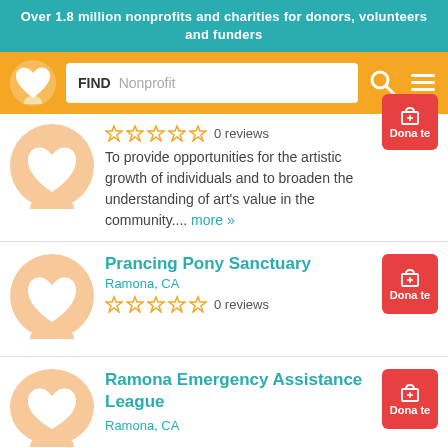Over 1.8 million nonprofits and charities for donors, volunteers and funders
[Figure (screenshot): Navigation bar with heart logo, search box with FIND Nonprofit placeholder, search icon, and hamburger menu icon on orange background]
0 reviews
To provide opportunities for the artistic growth of individuals and to broaden the understanding of art's value in the community.... more »
Prancing Pony Sanctuary
Ramona, CA
0 reviews
Ramona Emergency Assistance League
Ramona, CA